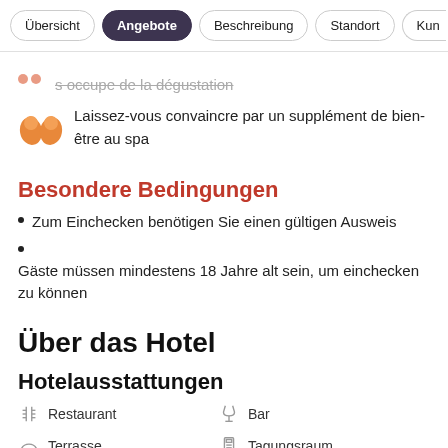Übersicht | Angebote | Beschreibung | Standort | Kun...
s occupe de la dégustation
Laissez-vous convaincre par un supplément de bien-être au spa
Besondere Bedingungen
Zum Einchecken benötigen Sie einen gültigen Ausweis
Gäste müssen mindestens 18 Jahre alt sein, um einchecken zu können
Über das Hotel
Hotelausstattungen
Restaurant
Bar
Terrasse
Tagungsraum